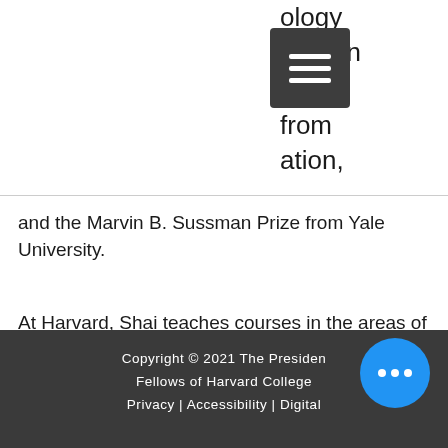ology ard, an from ation, and the Marvin B. Sussman Prize from Yale University.
At Harvard, Shai teaches courses in the areas of nonprofit organizations, global and transnational sociology, religion and politics, and sociological theory. He received numerous Certificates of Teaching Excellence, as well as an ABLConnect Teaching Innovator Award and an Extraordinary Teaching in Extraordinary Times commendation for flexibility and creativity in addressing the challenges of learning under COVID-19.
Copyright © 2021 The President & Fellows of Harvard College | Privacy | Accessibility | Digital